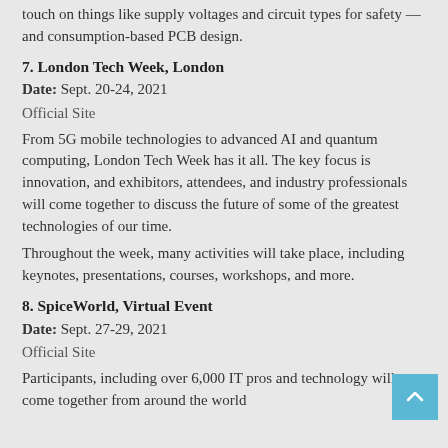touch on things like supply voltages and circuit types for safety — and consumption-based PCB design.
7. London Tech Week, London
Date: Sept. 20-24, 2021
Official Site
From 5G mobile technologies to advanced AI and quantum computing, London Tech Week has it all. The key focus is innovation, and exhibitors, attendees, and industry professionals will come together to discuss the future of some of the greatest technologies of our time.
Throughout the week, many activities will take place, including keynotes, presentations, courses, workshops, and more.
8. SpiceWorld, Virtual Event
Date: Sept. 27-29, 2021
Official Site
Participants, including over 6,000 IT pros and technology will come together from around the world...